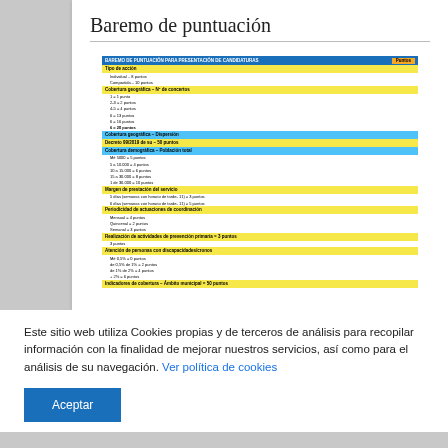Baremo de puntuación
[Figure (table-as-image): A scoring scale table (Baremo de puntuación) with yellow section headers and blue sub-headers, containing rows for Tipo de acción (Individual-8 puntos, Compartida-10 puntos), Cobertura geográfica, Decreto 99/2019, Margen de prestación del servicio, Periodicidad de actuaciones de coordinación, Realización de actividades de prevención primaria, Atención de personas con discapacidades/cronos, Indicadores de cobertura.]
Este sitio web utiliza Cookies propias y de terceros de análisis para recopilar información con la finalidad de mejorar nuestros servicios, así como para el análisis de su navegación. Ver política de cookies
Aceptar